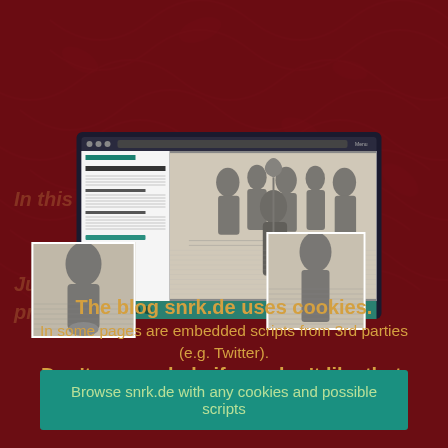[Figure (screenshot): Screenshot of snrk.de blog website showing a page with historical engravings, sidebar text, and two smaller overlapping image thumbnails]
The blog snrk.de uses cookies.
In some pages are embedded scripts from 3rd parties (e.g. Twitter).
Don't use snrk.de if you don't like that.
Browse snrk.de with any cookies and possible scripts